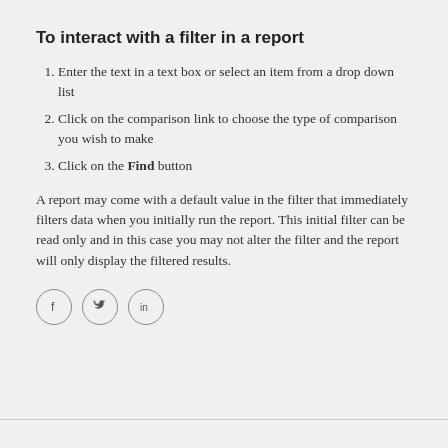To interact with a filter in a report
Enter the text in a text box or select an item from a drop down list
Click on the comparison link to choose the type of comparison you wish to make
Click on the Find button
A report may come with a default value in the filter that immediately filters data when you initially run the report. This initial filter can be read only and in this case you may not alter the filter and the report will only display the filtered results.
[Figure (other): Social media share icons: Facebook (f), Twitter (bird), LinkedIn (in)]